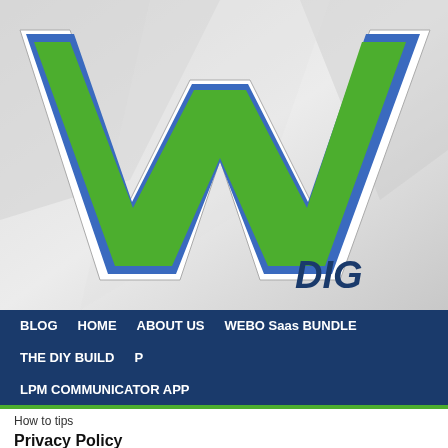[Figure (logo): Large green stylized 'W' letter logo with white outline on grey gradient background, with partial text 'DIG' in dark blue italic visible at bottom right]
BLOG   HOME   ABOUT US   WEBO Saas BUNDLE   THE DIY BUILD   P   LPM COMMUNICATOR APP
How to tips
Privacy Policy